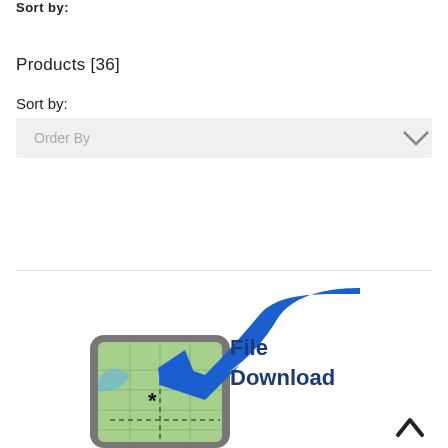Sort by:
Products [36]
Sort by:
[Figure (screenshot): A dropdown UI element labeled 'Order By' with a chevron/arrow on the right side, on a light gray background.]
[Figure (illustration): An illustration of a smartphone displaying a map, with a large blue arrow pointing down toward the phone screen, and text reading 'File Download' in bold dark blue letters to the right. At the bottom right is a dark upward-pointing chevron/caret icon.]